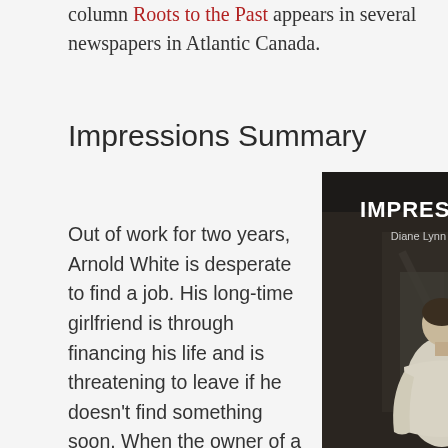column Roots to the Past appears in several newspapers in Atlantic Canada.
Impressions Summary
Out of work for two years, Arnold White is desperate to find a job. His long-time girlfriend is through financing his life and is threatening to leave if he doesn't find something soon. When the owner of a prestigious company
[Figure (illustration): Book cover for 'Impressions' by Diane Lynn McGyver. Dark background with a man seen from behind in a white sweater. Text reads 'IMPRESSIONS', 'Diane Lynn McGyver', 'A Short Story'.]